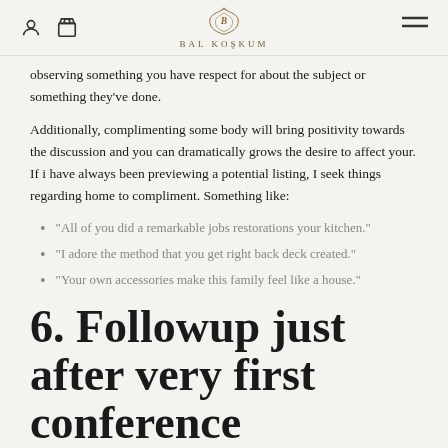BAL KOŞKUM
observing something you have respect for about the subject or something they've done.
Additionally, complimenting some body will bring positivity towards the discussion and you can dramatically grows the desire to affect your. If i have always been previewing a potential listing, I seek things regarding home to compliment. Something like:
“All of you did a remarkable jobs restorations your kitchen.”
“I adore the method that you get right back deck created.”
“Your own accessories make this family feel like a house.”
6. Followup just after very first conference
Most of us have got people initial experiences with individuals whom we actually struck it well having but never get a hold of